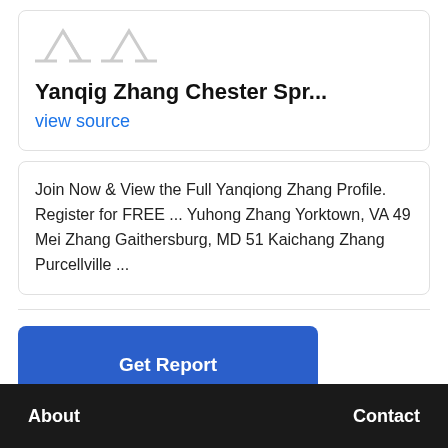Yanqig Zhang Chester Spr...
view source
Join Now & View the Full Yanqiong Zhang Profile. Register for FREE ... Yuhong Zhang Yorktown, VA 49 Mei Zhang Gaithersburg, MD 51 Kaichang Zhang Purcellville ...
Get Report
Control profile
About   Contact